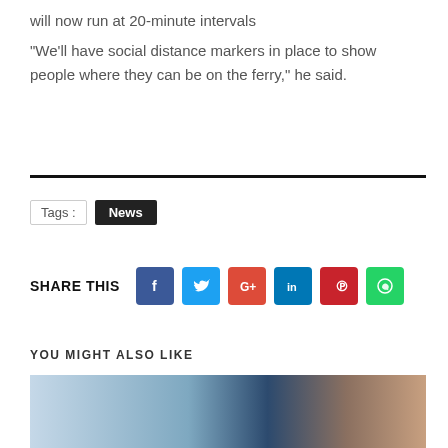will now run at 20-minute intervals
“We’ll have social distance markers in place to show people where they can be on the ferry,” he said.
Tags : News
SHARE THIS
[Figure (other): Social media share buttons: Facebook, Twitter, Google+, LinkedIn, Pinterest, WhatsApp]
YOU MIGHT ALSO LIKE
[Figure (photo): Thumbnail image of a vehicle/transport scene]